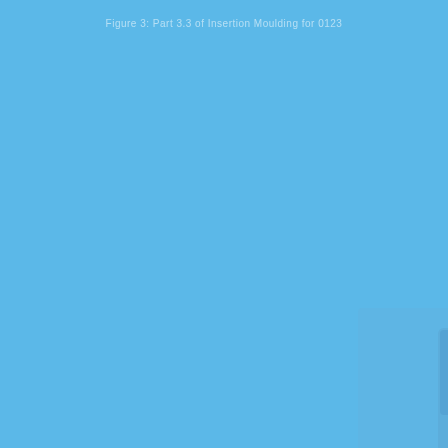Figure 3: Part 3.3 of Insertion Moulding for 0123
[Figure (photo): A blue-toned photograph or illustration showing what appears to be a wall plate or socket/switch panel with a circular button or knob element in the center, set against a solid sky-blue background. The image has low contrast, making details difficult to discern.]
[Figure (photo): A smaller secondary image at the bottom center of the page, also blue-toned, appearing to show a smaller component or detail view related to the main figure above.]